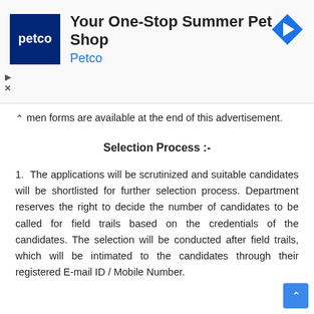[Figure (screenshot): Petco advertisement banner: 'Your One-Stop Summer Pet Shop' with Petco logo and navigation icon]
men forms are available at the end of this advertisement.
Selection Process :-
1. The applications will be scrutinized and suitable candidates will be shortlisted for further selection process. Department reserves the right to decide the number of candidates to be called for field trails based on the credentials of the candidates. The selection will be conducted after field trails, which will be intimated to the candidates through their registered E-mail ID / Mobile Number.